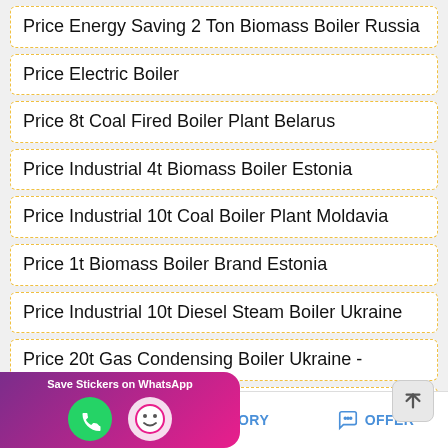Price Energy Saving 2 Ton Biomass Boiler Russia
Price Electric Boiler
Price 8t Coal Fired Boiler Plant Belarus
Price Industrial 4t Biomass Boiler Estonia
Price Industrial 10t Coal Boiler Plant Moldavia
Price 1t Biomass Boiler Brand Estonia
Price Industrial 10t Diesel Steam Boiler Ukraine
Price 20t Gas Condensing Boiler Ukraine -
…on Coal Steam Boiler Latvia
[Figure (other): WhatsApp sticker saver app banner overlay with phone and emoji icons]
MAIL   ADVISORY   OFFER